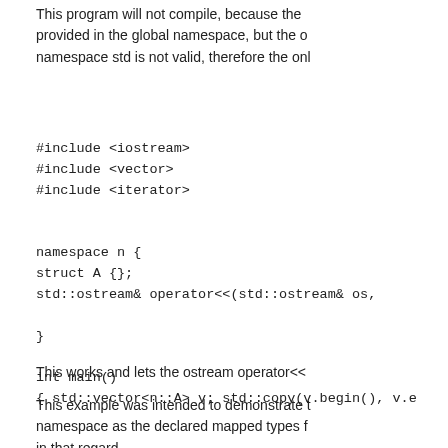This program will not compile, because the provided in the global namespace, but the o namespace std is not valid, therefore the onl
#include <iostream>
#include <vector>
#include <iterator>
namespace n {
struct A {};
std::ostream& operator<<(std::ostream& os,
}

int main()
{ std::vector<n::A> v; std::copy(v.begin(), v.e
This works and lets the ostream operator<<
This example was intended to demonstrate t namespace as the declared mapped types f in that regard.